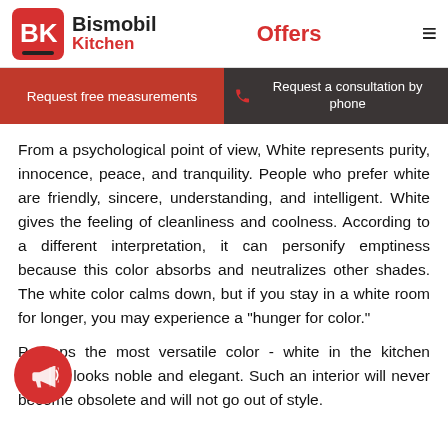Bismobil Kitchen | Offers
Request free measurements
Request a consultation by phone
From a psychological point of view, White represents purity, innocence, peace, and tranquility. People who prefer white are friendly, sincere, understanding, and intelligent. White gives the feeling of cleanliness and coolness. According to a different interpretation, it can personify emptiness because this color absorbs and neutralizes other shades. The white color calms down, but if you stay in a white room for longer, you may experience a "hunger for color."
Perhaps the most versatile color - white in the kitchen design, looks noble and elegant. Such an interior will never become obsolete and will not go out of style.